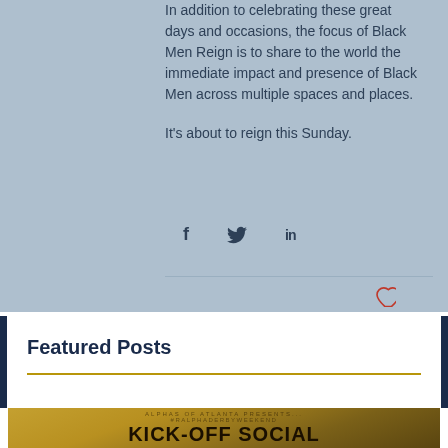In addition to celebrating these great days and occasions, the focus of Black Men Reign is to share to the world the immediate impact and presence of Black Men across multiple spaces and places.
It's about to reign this Sunday.
[Figure (infographic): Social sharing icons: Facebook (f), Twitter (bird), LinkedIn (in)]
Featured Posts
[Figure (photo): Alphas of Atlanta Presents #RalphaDerbyWeekend KICK-OFF SOCIAL event poster with gold/tan background showing silhouettes of people]